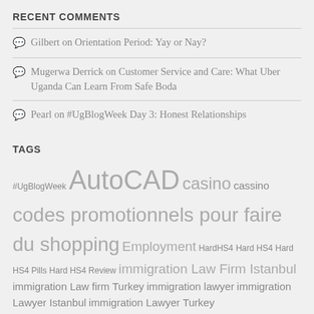RECENT COMMENTS
Gilbert on Orientation Period: Yay or Nay?
Mugerwa Derrick on Customer Service and Care: What Uber Uganda Can Learn From Safe Boda
Pearl on #UgBlogWeek Day 3: Honest Relationships
TAGS
#UgBlogWeek AutoCAD casino cassino codes promotionnels pour faire du shopping Employment HardHS4 Hard HS4 Hard HS4 Pills Hard HS4 Review immigration Law Firm Istanbul immigration Law firm Turkey immigration lawyer immigration Lawyer Istanbul immigration Lawyer Turkey instagram followers intercom system Juan Pablo Carrasco de Groote Kasino